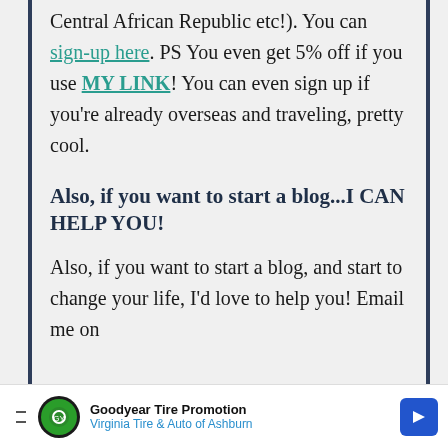Central African Republic etc!). You can sign-up here. PS You even get 5% off if you use MY LINK! You can even sign up if you're already overseas and traveling, pretty cool.
Also, if you want to start a blog...I CAN HELP YOU!
Also, if you want to start a blog, and start to change your life, I'd love to help you! Email me on
[Figure (other): Advertisement bar: Goodyear Tire Promotion - Virginia Tire & Auto of Ashburn]